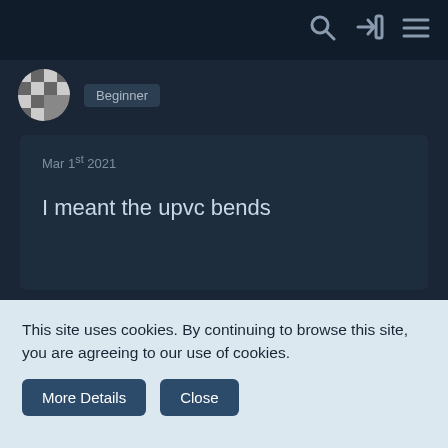nav bar with search, login, and menu icons
Beginner
Mar 1st 2021
I meant the upvc bends
Lightning-guy77
Professional
Mar 1st 2021
This site uses cookies. By continuing to browse this site, you are agreeing to our use of cookies.
More Details
Close